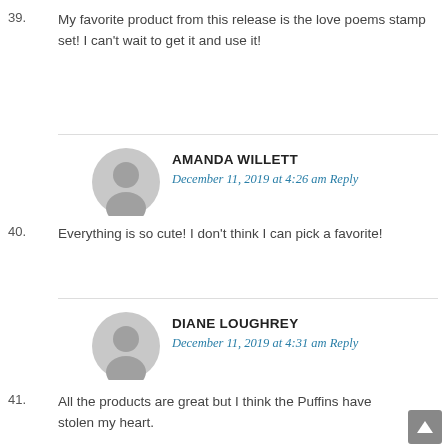My favorite product from this release is the love poems stamp set! I can't wait to get it and use it!
39.
AMANDA WILLETT
December 11, 2019 at 4:26 am Reply
Everything is so cute! I don't think I can pick a favorite!
40.
DIANE LOUGHREY
December 11, 2019 at 4:31 am Reply
All the products are great but I think the Puffins have stolen my heart.
41.